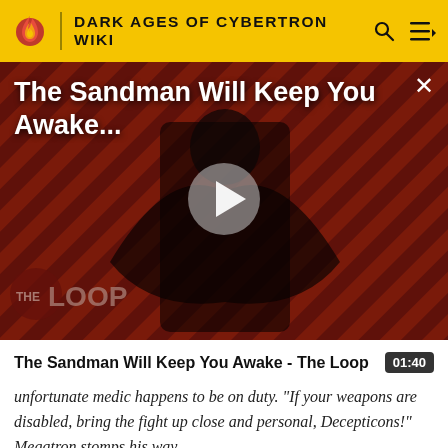DARK AGES OF CYBERTRON WIKI
[Figure (screenshot): Video thumbnail showing a figure in black clothing against a red and black diagonal striped background, with 'THE LOOP' logo watermark. Title overlay reads 'The Sandman Will Keep You Awake...' with a play button in the center.]
The Sandman Will Keep You Awake - The Loop
unfortunate medic happens to be on duty. "If your weapons are disabled, bring the fight up close and personal, Decepticons!" Megatron stomps his way